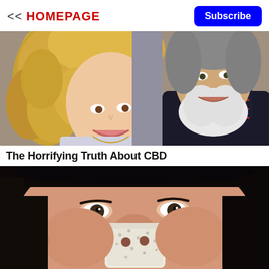<< HOMEPAGE  Subscribe
[Figure (photo): A smiling middle-aged couple: a woman with blonde curly hair wearing a light sweater and necklace, and a man with a white beard wearing a dark blazer with a plaid shirt.]
The Horrifying Truth About CBD
[Figure (photo): Close-up of a young Asian woman with dark hair applying or removing a white/cream face mask or pore strip from her nose, looking upward slightly.]